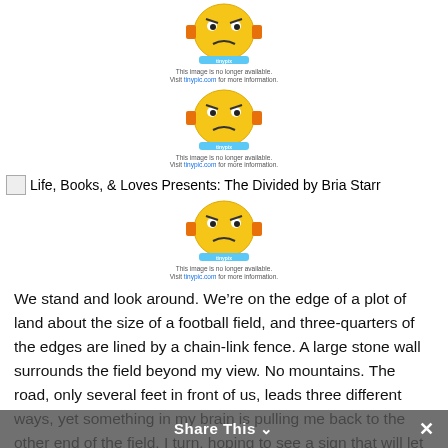[Figure (illustration): Tinypic cartoon angry face emoji image with 'This image is no longer available. Visit tinypic.com for more information.' caption - first instance]
[Figure (illustration): Tinypic cartoon angry face emoji image with 'This image is no longer available. Visit tinypic.com for more information.' caption - second instance]
[Figure (illustration): Life, Books, & Loves Presents: The Divided by Bria Starr - banner with broken image icon]
[Figure (illustration): Tinypic cartoon angry face emoji image with 'This image is no longer available. Visit tinypic.com for more information.' caption - third instance]
We stand and look around. We're on the edge of a plot of land about the size of a football field, and three-quarters of the edges are lined by a chain-link fence. A large stone wall surrounds the field beyond my view. No mountains. The road, only several feet in front of us, leads three different ways, yet something in my brain is pulling me back to the other end of the field. I turn, hoping to see a sign that will let me know where we should begin. In the distance stands the skeleton of a rusty old water tower flanked by the remnants of what I can only guess was once a typical town.
“Do you see my car?” Mary Anne asks.
I shake my head. Just as I move to take a step, a loud whistle sounds off,
Share This ⌄ ×